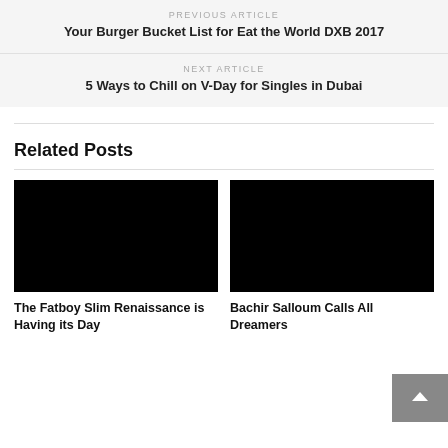PREVIOUS ARTICLE
Your Burger Bucket List for Eat the World DXB 2017
NEXT ARTICLE
5 Ways to Chill on V-Day for Singles in Dubai
Related Posts
[Figure (photo): Black image placeholder for The Fatboy Slim Renaissance is Having its Day article]
The Fatboy Slim Renaissance is Having its Day
[Figure (photo): Black image placeholder for Bachir Salloum Calls All Dreamers article]
Bachir Salloum Calls All Dreamers